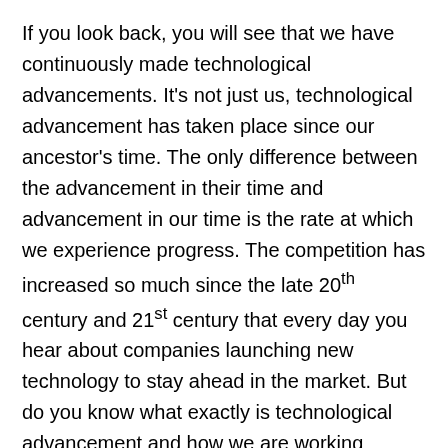If you look back, you will see that we have continuously made technological advancements. It's not just us, technological advancement has taken place since our ancestor's time. The only difference between the advancement in their time and advancement in our time is the rate at which we experience progress. The competition has increased so much since the late 20th century and 21st century that every day you hear about companies launching new technology to stay ahead in the market. But do you know what exactly is technological advancement and how we are working towards achieving it? Let's learn more about the same in this discussion.